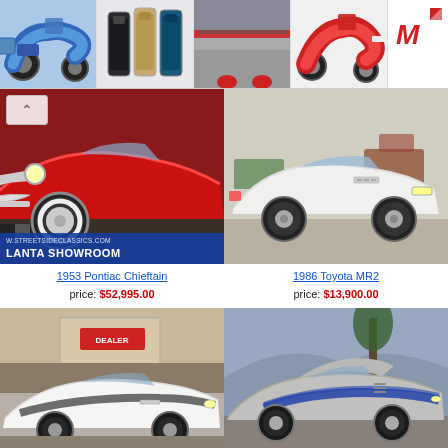[Figure (photo): Ad banner row with blue electric scooter, iPhones lineup, warehouse/garage scene, red electric scooter, and Maserati logo ad]
[Figure (photo): 1953 Pontiac Chieftain red classic car front view at Atlanta Showroom (streetsideclassics.com)]
[Figure (photo): 1986 Toyota MR2 white sports car in showroom]
1953 Pontiac Chieftain
price: $52,995.00
1986 Toyota MR2
price: $13,900.00
[Figure (photo): White classic Camaro in front of dealership building]
[Figure (photo): Silver/gray Mustang Eleanor style fastback with blue stripes on mountain road]